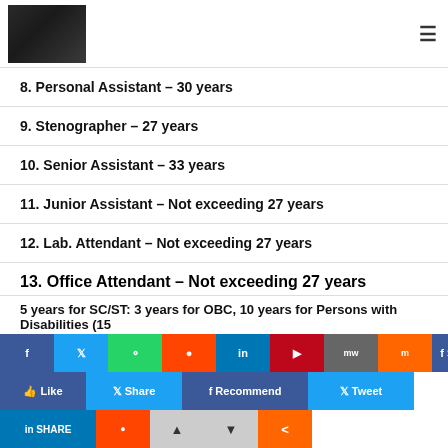8. Personal Assistant – 30 years
9. Stenographer – 27 years
10. Senior Assistant – 33 years
11. Junior Assistant – Not exceeding 27 years
12. Lab. Attendant – Not exceeding 27 years
13. Office Attendant – Not exceeding 27 years
...5 years for SC/ST: 3 years for OBC, 10 years for Persons with Disabilities (15 years for OBC PWD's) and for...